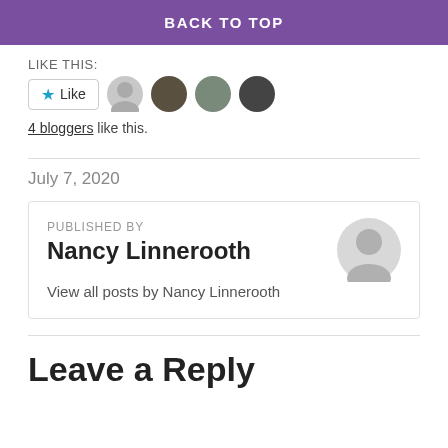BACK TO TOP
LIKE THIS:
[Figure (other): Like button with star icon and 4 blogger avatars]
4 bloggers like this.
July 7, 2020
PUBLISHED BY
Nancy Linnerooth
View all posts by Nancy Linnerooth
Leave a Reply